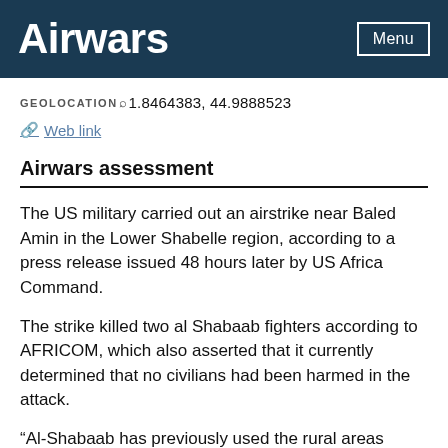Airwars
GEOLOCATION 1.8464383, 44.9888523
Web link
Airwars assessment
The US military carried out an airstrike near Baled Amin in the Lower Shabelle region, according to a press release issued 48 hours later by US Africa Command.
The strike killed two al Shabaab fighters according to AFRICOM, which also asserted that it currently determined that no civilians had been harmed in the attack.
“Al-Shabaab has previously used the rural areas surrounding Baled Amin as a staging area for attacks